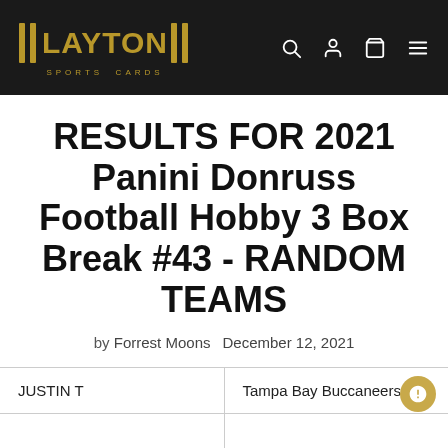LAYTON SPORTS CARDS
RESULTS FOR 2021 Panini Donruss Football Hobby 3 Box Break #43 - RANDOM TEAMS
by Forrest Moons   December 12, 2021
| JUSTIN T | Tampa Bay Buccaneers |